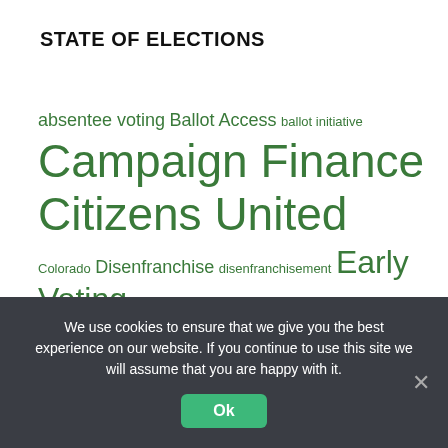STATE OF ELECTIONS
[Figure (infographic): Tag cloud of election-related topics in green text at varying font sizes: absentee voting, Ballot Access, ballot initiative, Campaign Finance, Citizens United, Colorado, Disenfranchise, disenfranchisement, Early Voting, Election 2016, Electronic Voting, Felon Voting Rights, First Amendment, Gerrymandering, in-depth article, judicial elections, National Voter Registration Act, North Carolina, photo ID, primary election, Recount]
We use cookies to ensure that we give you the best experience on our website. If you continue to use this site we will assume that you are happy with it.